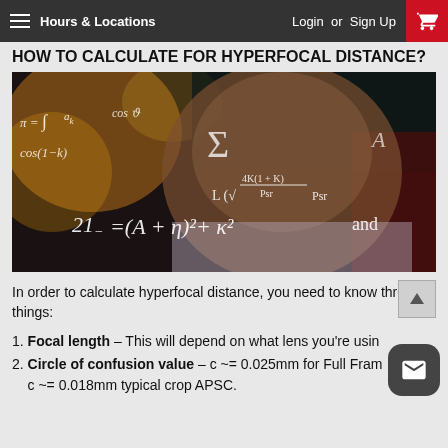Hours & Locations   Login or Sign Up
HOW TO CALCULATE FOR HYPERFOCAL DISTANCE?
[Figure (photo): A man's face overlaid with mathematical equations and formulas, including expressions like 21=(A+η)²+κ² and, summation symbols, and 4K(1+K)/Psr]
In order to calculate hyperfocal distance, you need to know three things:
1. Focal length – This will depend on what lens you're using
2. Circle of confusion value – c ~= 0.025mm for Full Frame, c ~= 0.018mm typical crop APSC.